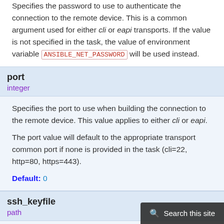Specifies the password to use to authenticate the connection to the remote device. This is a common argument used for either cli or eapi transports. If the value is not specified in the task, the value of environment variable ANSIBLE_NET_PASSWORD will be used instead.
port
integer
Specifies the port to use when building the connection to the remote device. This value applies to either cli or eapi.
The port value will default to the appropriate transport common port if none is provided in the task (cli=22, http=80, https=443).
Default: 0
ssh_keyfile
path
Specifies the SSH keyfile to use to authenticate the connection to the remote device. This argument is only used for cli transports. If the value is not specified in the task, the value of